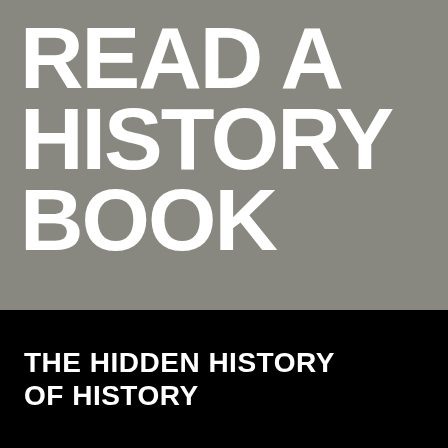READ A HISTORY BOOK
THE HIDDEN HISTORY OF HISTORY